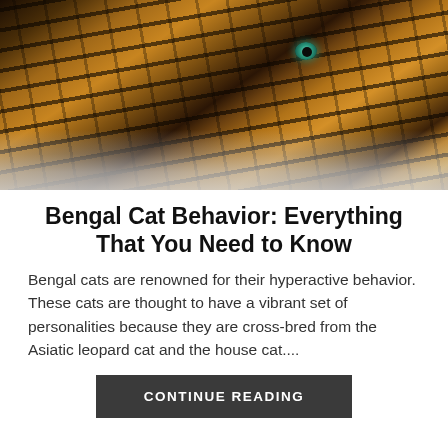[Figure (photo): Close-up photograph of a Bengal cat with striking green eyes, golden-brown fur with dark black stripes and spots, lying on a light-colored fluffy rug or carpet. The cat is looking directly at the camera.]
Bengal Cat Behavior: Everything That You Need to Know
Bengal cats are renowned for their hyperactive behavior. These cats are thought to have a vibrant set of personalities because they are cross-bred from the Asiatic leopard cat and the house cat....
CONTINUE READING